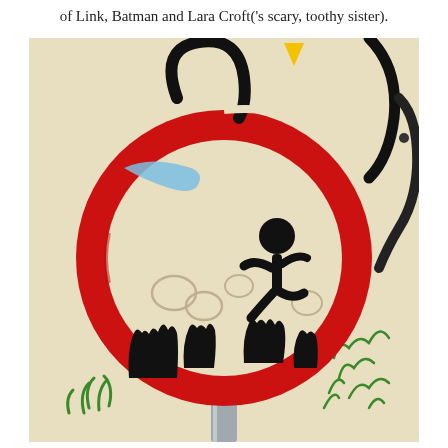of Link, Batman and Lara Croft('s scary, toothy sister).
[Figure (photo): A street art / graffiti painting on a beige/cream wall. A large red circular ring (resembling a road sign) is painted in the center, with a black stick figure running across the top of reaching black hands (like a crowd surfing scene). Above the circle are black curved lines (possibly ears or antennae) and a small yellow triangle. A blue brushstroke curves to the left. On the right side is a partial dark profile face. Green graffiti marks appear at the bottom right and bottom center. A gray post supports the circle sign at the bottom.]